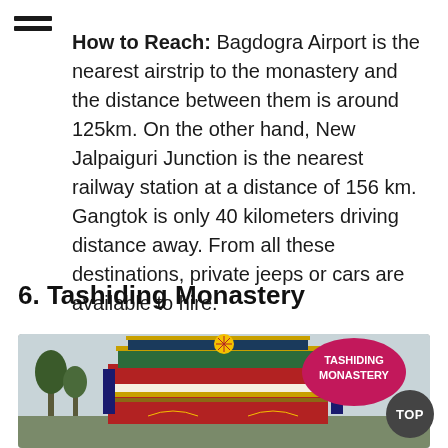How to Reach: Bagdogra Airport is the nearest airstrip to the monastery and the distance between them is around 125km. On the other hand, New Jalpaiguri Junction is the nearest railway station at a distance of 156 km. Gangtok is only 40 kilometers driving distance away. From all these destinations, private jeeps or cars are available to hire.
6. Tashiding Monastery
[Figure (photo): Photo of Tashiding Monastery with colorful Tibetan Buddhist architecture, featuring golden roof decorations, prayer wheel, and ornate red and gold facade. A pink badge overlay reads 'TASHIDING MONASTERY'.]